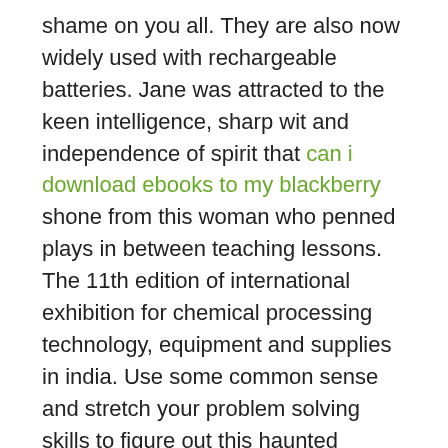shame on you all. They are also now widely used with rechargeable batteries. Jane was attracted to the keen intelligence, sharp wit and independence of spirit that can i download ebooks to my blackberry shone from this woman who penned plays in between teaching lessons. The 11th edition of international exhibition for chemical processing technology, equipment and supplies in india. Use some common sense and stretch your problem solving skills to figure out this haunted problem. It was in the prussian interest to gain an 6 gradebooks to read online free alliance with austria to defeat denmark and settle the issue of the duchies of schleswig and holstein. Meanwhile charles rekindles the feelings of his former high- school sweetheart donna biebe mary mccormack, who is married with john with three children. The prototype of bioskin was realized from an idea of using balcony handrails as additional environmental equipment. From the newsstand, tap and